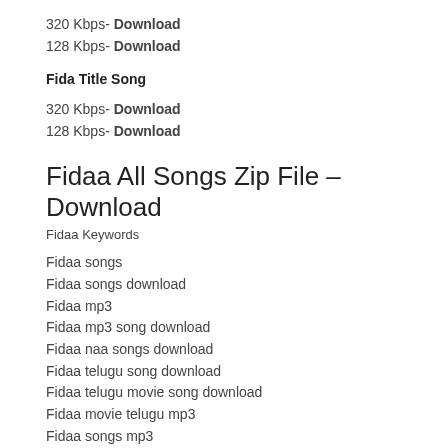320 Kbps- Download
128 Kbps- Download
Fida Title Song
320 Kbps- Download
128 Kbps- Download
Fidaa All Songs Zip File – Download
Fidaa Keywords
Fidaa songs
Fidaa songs download
Fidaa mp3
Fidaa mp3 song download
Fidaa naa songs download
Fidaa telugu song download
Fidaa telugu movie song download
Fidaa movie telugu mp3
Fidaa songs mp3